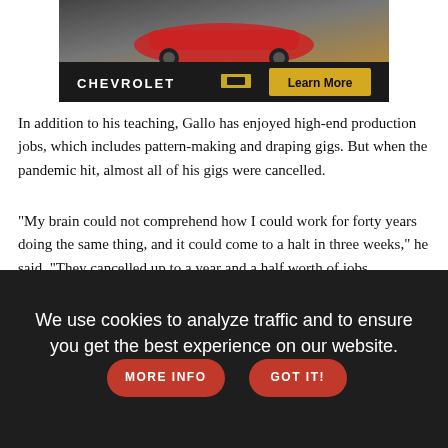[Figure (advertisement): Chevrolet advertisement banner showing a car image at top, CHEVROLET logo with bowtie emblem and a yellow 'Learn More' button on dark background]
In addition to his teaching, Gallo has enjoyed high-end production jobs, which includes pattern-making and draping gigs. But when the pandemic hit, almost all of his gigs were cancelled.
"My brain could not comprehend how I could work for forty years doing the same thing, and it could come to a halt in three weeks," he said. "They cancelled up to a year and a half worth of jobs. Suddenly there was nothing left to do."
That was when he suffered his breakdown. As always, he found solace in drawing, which is what led to his coloring book.
"I can't write a book, but I can draw a book," Gallo said. He explains
We use cookies to analyze traffic and to ensure you get the best experience on our website.
MORE INFO
GOT IT!